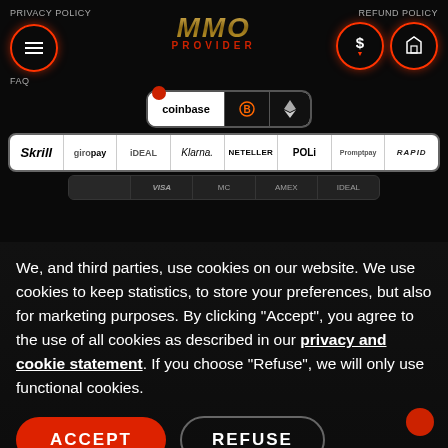PRIVACY POLICY | MMO PROVIDER | REFUND POLICY | FAQ
[Figure (screenshot): Payment methods banner showing coinbase, Bitcoin, Ethereum, Skrill, giropay, iDEAL, Klarna, NETELLER, POLi, Promptpay, RAPID payment logos]
We, and third parties, use cookies on our website. We use cookies to keep statistics, to store your preferences, but also for marketing purposes. By clicking "Accept", you agree to the use of all cookies as described in our privacy and cookie statement. If you choose "Refuse", we will only use functional cookies.